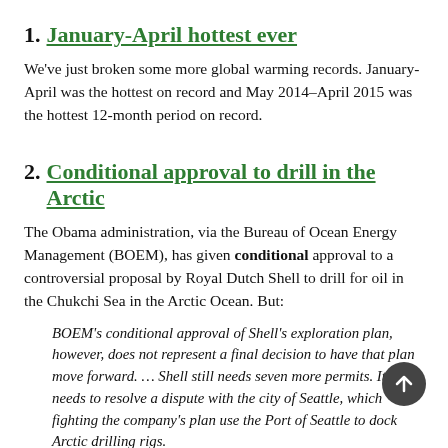1. January-April hottest ever
We've just broken some more global warming records. January-April was the hottest on record and May 2014–April 2015 was the hottest 12-month period on record.
2. Conditional approval to drill in the Arctic
The Obama administration, via the Bureau of Ocean Energy Management (BOEM), has given conditional approval to a controversial proposal by Royal Dutch Shell to drill for oil in the Chukchi Sea in the Arctic Ocean. But:
BOEM's conditional approval of Shell's exploration plan, however, does not represent a final decision to have that plan move forward. … Shell still needs seven more permits. It also needs to resolve a dispute with the city of Seattle, which fighting the company's plan use the Port of Seattle to dock Arctic drilling rigs.